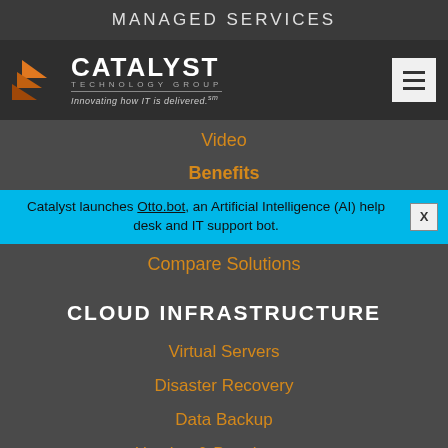MANAGED SERVICES
[Figure (logo): Catalyst Technology Group logo with orange arrow graphic and tagline 'Innovating how IT is delivered.']
Video
Benefits
Catalyst launches Otto.bot, an Artificial Intelligence (AI) help desk and IT support bot.
Compare Solutions
CLOUD INFRASTRUCTURE
Virtual Servers
Disaster Recovery
Data Backup
Hosting & Development
PRODUCTIVITY
Email